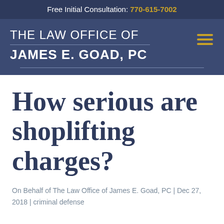Free Initial Consultation: 770-615-7002
THE LAW OFFICE OF JAMES E. GOAD, PC
How serious are shoplifting charges?
On Behalf of The Law Office of James E. Goad, PC | Dec 27, 2018 | criminal defense